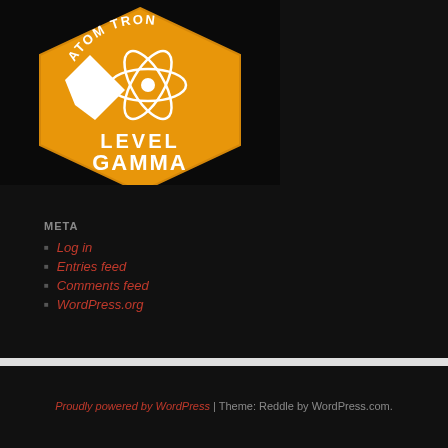[Figure (logo): Atomitron Level Gamma hexagonal badge logo with orange background, white atom/rocket graphic, and white text reading LEVEL GAMMA]
META
Log in
Entries feed
Comments feed
WordPress.org
Proudly powered by WordPress | Theme: Reddle by WordPress.com.